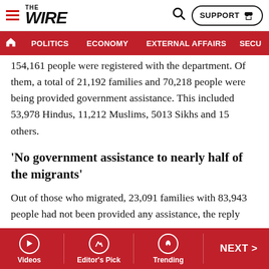THE WIRE | POLITICS | ECONOMY | EXTERNAL AFFAIRS | SECU... | SUPPORT
154,161 people were registered with the department. Of them, a total of 21,192 families and 70,218 people were being provided government assistance. This included 53,978 Hindus, 11,212 Muslims, 5013 Sikhs and 15 others.
‘No government assistance to nearly half of the migrants’
Out of those who migrated, 23,091 families with 83,943 people had not been provided any assistance, the reply said. This included 81,448 Hindus, 949 Muslims, 1,542 Sikhs and four others.
To a question on facilities, including financial help, being
Videos | Editor's Pick | Trending | NEXT >